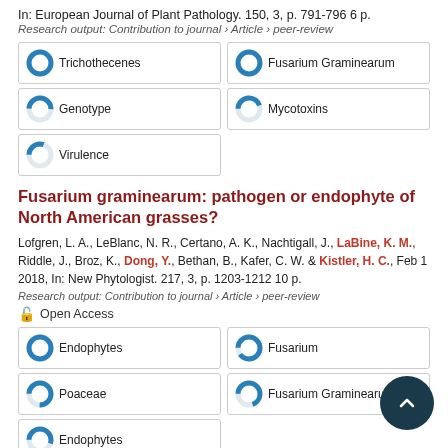In: European Journal of Plant Pathology. 150, 3, p. 791-796 6 p.
Research output: Contribution to journal › Article › peer-review
[Figure (infographic): Keyword badges with donut/pie percentage icons: Trichothecenes 100%, Fusarium Graminearum 100%, Genotype ~50%, Mycotoxins ~45%, Virulence ~30%]
Fusarium graminearum: pathogen or endophyte of North American grasses?
Lofgren, L. A., LeBlanc, N. R., Certano, A. K., Nachtigall, J., LaBine, K. M., Riddle, J., Broz, K., Dong, Y., Bethan, B., Kafer, C. W. & Kistler, H. C., Feb 1 2018, In: New Phytologist. 217, 3, p. 1203-1212 10 p.
Research output: Contribution to journal › Article › peer-review
Open Access
[Figure (infographic): Keyword badges with donut/pie percentage icons: Endophytes 100%, Fusarium ~90%, Poaceae ~75%, Fusarium Graminearum ~70%, Endophytes ~55%]